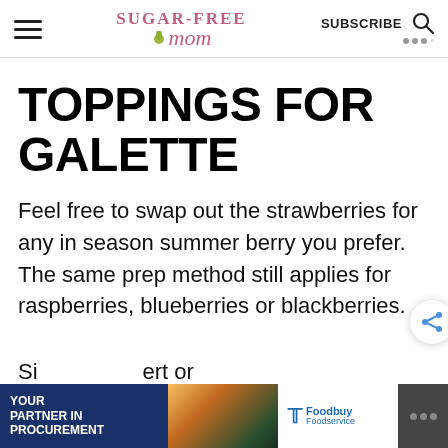SUGAR-FREE MOM — SUBSCRIBE
TOPPINGS FOR GALETTE
Feel free to swap out the strawberries for any in season summer berry you prefer. The same prep method still applies for raspberries, blueberries or blackberries.
[Figure (other): Advertisement banner: YOUR PARTNER IN PROCUREMENT — Foodbuy Foodservice logo]